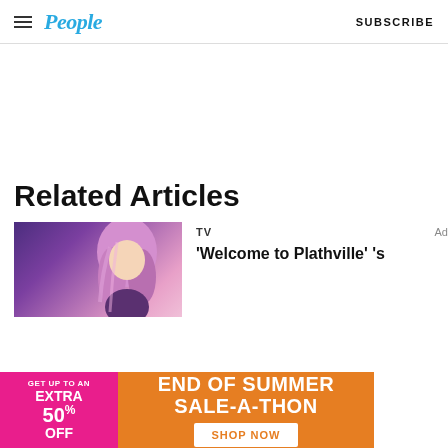People — SUBSCRIBE
Related Articles
TV
'Welcome to Plathville' 's
[Figure (photo): Thumbnail image of a woman with pink/purple hair against a purple gradient background]
[Figure (infographic): Advertisement banner: GET UP TO AN EXTRA 50% OFF — END OF SUMMER SALE-A-THON — SHOP NOW]